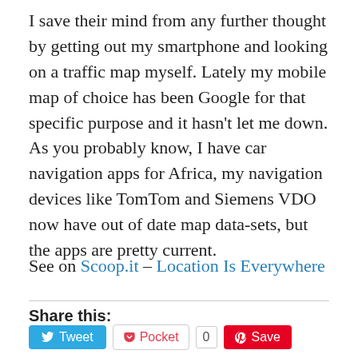I save their mind from any further thought by getting out my smartphone and looking on a traffic map myself. Lately my mobile map of choice has been Google for that specific purpose and it hasn't let me down. As you probably know, I have car navigation apps for Africa, my navigation devices like TomTom and Siemens VDO now have out of date map data-sets, but the apps are pretty current.
See on Scoop.it – Location Is Everywhere
Share this:
[Figure (screenshot): Social sharing buttons: Tweet (Twitter), Pocket with count 0, Save (Pinterest), LinkedIn Share, Tumblr Post, Like button with avatar]